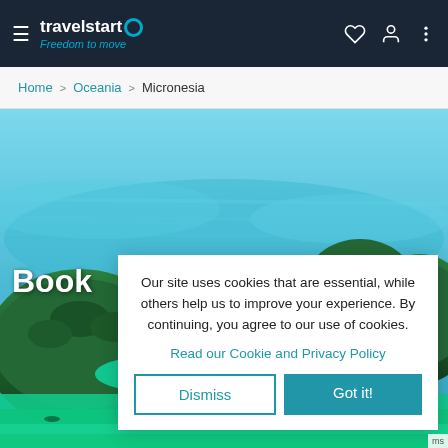travelstart — Freedom to move
Home > Oceania > Micronesia
[Figure (photo): Aerial view of lush green limestone islands in turquoise waters of Micronesia (Palau rock islands)]
Book
Our site uses cookies that are essential, while others help us to improve your experience. By continuing, you agree to our use of cookies.
Read our Cookie and Privacy Policy
Dismiss
Got it!